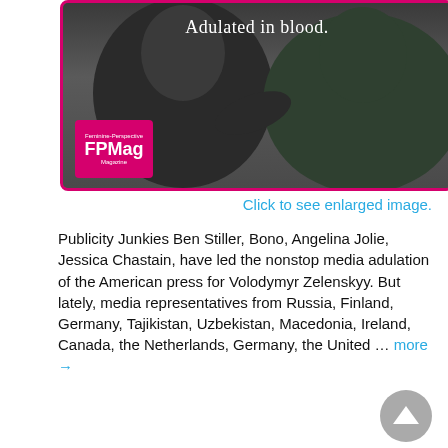[Figure (photo): Photo of a man in a dark t-shirt with text 'Adulated in blood.' overlaid at top, and FPMag logo badge at bottom left. Border in magenta/pink.]
Click to see enlarged image.
Publicity Junkies Ben Stiller, Bono, Angelina Jolie, Jessica Chastain, have led the nonstop media adulation of the American press for Volodymyr Zelenskyy. But lately, media representatives from Russia, Finland, Germany, Tajikistan, Uzbekistan, Macedonia, Ireland, Canada, the Netherlands, Germany, the United … more →
[Figure (illustration): Feminine-Perspective Magazine promotional image showing a globe (Earth) on a starry background with text 'FPMagnet/voices/ Voices For Peace' and at the bottom 'View Earth from a Feminine Perspective'. Magenta/pink border.]